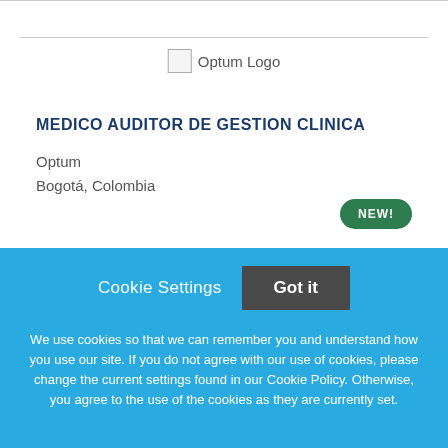[Figure (logo): Optum Logo placeholder image]
MEDICO AUDITOR DE GESTION CLINICA
Optum
Bogotá, Colombia
NEW!
Cookie Settings
Got it
We use cookies so that we can remember you and understand how you use our site. If you do not agree with our use of cookies, please change the current settings found in our Cookie Policy. Otherwise, you agree to the use of the cookies as they are currently set.